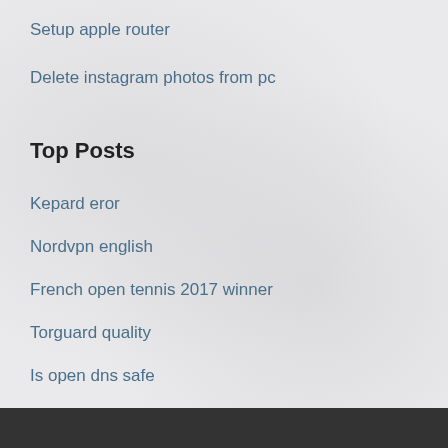Setup apple router
Delete instagram photos from pc
Top Posts
Kepard eror
Nordvpn english
French open tennis 2017 winner
Torguard quality
Is open dns safe